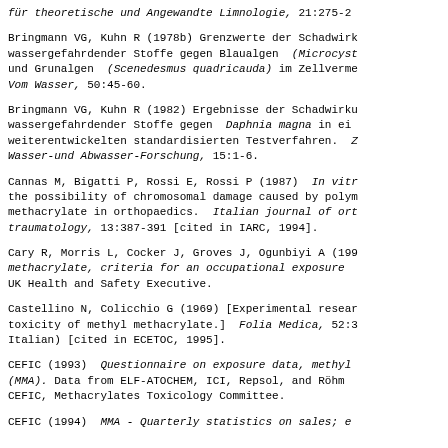für theoretische und Angewandte Limnologie, 21:275-...
Bringmann VG, Kuhn R (1978b) Grenzwerte der Schadwirkungen wassergefahrdender Stoffe gegen Blaualgen (Microcystis...) und Grunalgen (Scenedesmus quadricauda) im Zellvermehrungstest. Vom Wasser, 50:45-60.
Bringmann VG, Kuhn R (1982) Ergebnisse der Schadwirkungen wassergefahrdender Stoffe gegen Daphnia magna in einem weiterentwickelten standardisierten Testverfahren. Wasser-und Abwasser-Forschung, 15:1-6.
Cannas M, Bigatti P, Rossi E, Rossi P (1987) In vitro the possibility of chromosomal damage caused by polymethyl methacrylate in orthopaedics. Italian journal of orthopaedics and traumatology, 13:387-391 [cited in IARC, 1994].
Cary R, Morris L, Cocker J, Groves J, Ogunbiyi A (199...) methyl methacrylate, criteria for an occupational exposure... UK Health and Safety Executive.
Castellino N, Colicchio G (1969) [Experimental research on toxicity of methyl methacrylate.] Folia Medica, 52:3... (Italian) [cited in ECETOC, 1995].
CEFIC (1993) Questionnaire on exposure data, methyl methacrylate (MMA). Data from ELF-ATOCHEM, ICI, Repsol, and Röhm... CEFIC, Methacrylates Toxicology Committee.
CEFIC (1994) MMA - Quarterly statistics on sales; e...